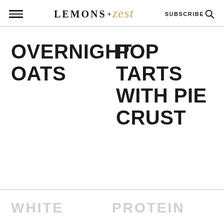LEMONS + zest  SUBSCRIBE
OVERNIGHT OATS
POP TARTS WITH PIE CRUST
WHITE
PROTEIN